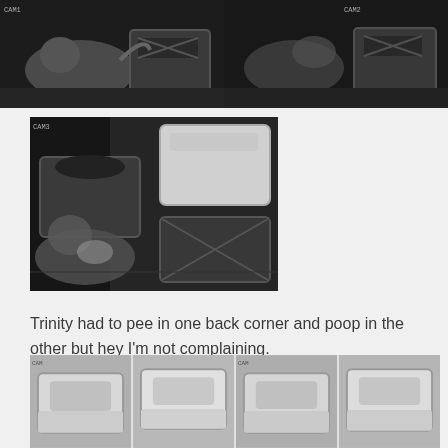[Figure (photo): Two side-by-side black-and-white infrared/night-vision photos of a cat near a litter box]
[Figure (photo): Single black-and-white photo showing a cat near litter boxes and containers from above]
Trinity had to pee in one back corner and poop in the other but hey I'm not complaining.
[Figure (photo): Four side-by-side black-and-white photos of a litter box (no cat visible, showing the box from slightly above)]